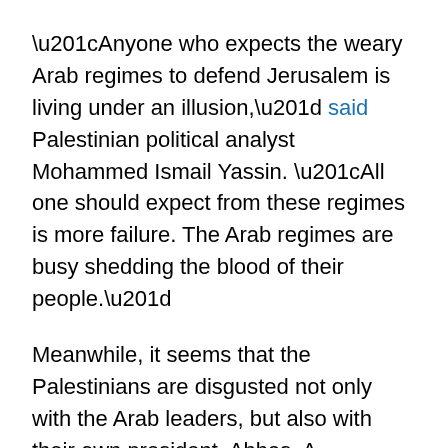“Anyone who expects the weary Arab regimes to defend Jerusalem is living under an illusion,” said Palestinian political analyst Mohammed Ismail Yassin. “All one should expect from these regimes is more failure. The Arab regimes are busy shedding the blood of their people.”
Meanwhile, it seems that the Palestinians are disgusted not only with the Arab leaders, but also with their own president, Abbas. A Palestinian public opinion poll published this week showed that 70% of the Palestinians want Abbas to resign. Three months ago, 67% of the Palestinians interviewed for another poll said they wanted Abbas to resign. The latest poll found that Palestinians favor more hardline leaders such as Fatah’s imprisoned leader, Marwan Barghouti, and Hamas leader Ismail Haniyeh.